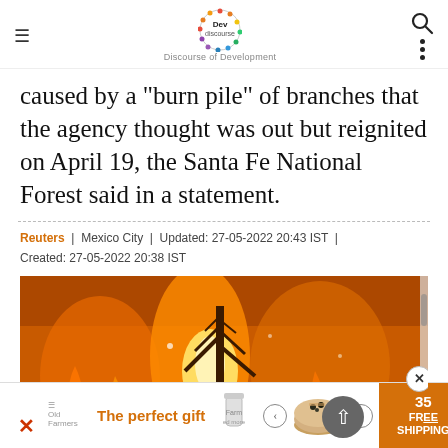Devdiscourse — Discourse of Development
caused by a "burn pile" of branches that the agency thought was out but reignited on April 19, the Santa Fe National Forest said in a statement.
Reuters | Mexico City | Updated: 27-05-2022 20:43 IST | Created: 27-05-2022 20:38 IST
[Figure (photo): Photo of a forest fire with large orange flames engulfing trees against an orange smoke-filled sky.]
[Figure (infographic): Advertisement banner showing 'The perfect gift' text with navigation arrows, food bowl image, and shipping offer.]